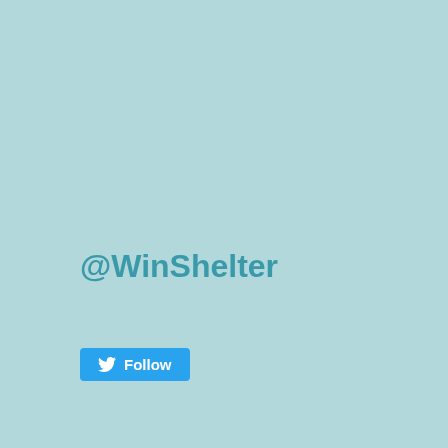@WinShelter
[Figure (other): Twitter Follow button with bird icon and 'Follow' text in white on blue background]
13 Nov
We are only a small charity but we have a huge amount of kind people supporting us. This …
[Figure (other): Document/attachment icon in a bordered box]